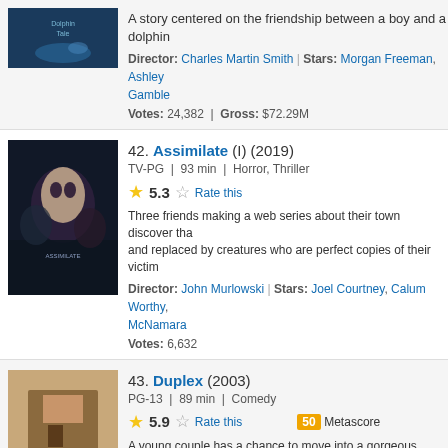[Figure (photo): Movie poster for Dolphin Tale (partially visible at top)]
A story centered on the friendship between a boy and a dolphin
Director: Charles Martin Smith | Stars: Morgan Freeman, Ashley Gamble
Votes: 24,382 | Gross: $72.29M
[Figure (photo): Movie poster for Assimilate (I) (2019) - horror thriller with woman's face]
42. Assimilate (I) (2019)
TV-PG | 93 min | Horror, Thriller
5.3 Rate this
Three friends making a web series about their town discover that people are being killed and replaced by creatures who are perfect copies of their victims.
Director: John Murlowski | Stars: Joel Courtney, Calum Worthy, McNamara
Votes: 6,632
[Figure (photo): Movie poster for Duplex (2003) - comedy with cast members]
43. Duplex (2003)
PG-13 | 89 min | Comedy
5.9 Rate this  50 Metascore
A young couple has a chance to move into a gorgeous duplex in a charming neighborhood. All they have to do is bump off the current tenant.
Director: Danny DeVito | Stars: Ben Stiller, Drew Barrymore, Ei...